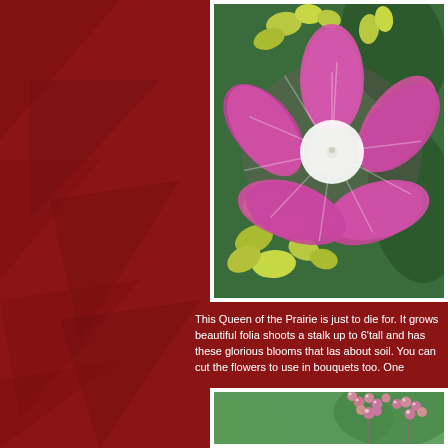[Figure (photo): Close-up photo of a large pink morning glory or similar flower with white center, surrounded by yellow-green and dark green foliage]
This Queen of the Prairie is just to die for. It grows beautiful folia shoots a stalk up to 6'tall and has these glorious blooms that las about soil. You can cut the flowers to use in bouquets too. One
[Figure (photo): Close-up photo of pink/mauve berry clusters on stems against a blurred green background]